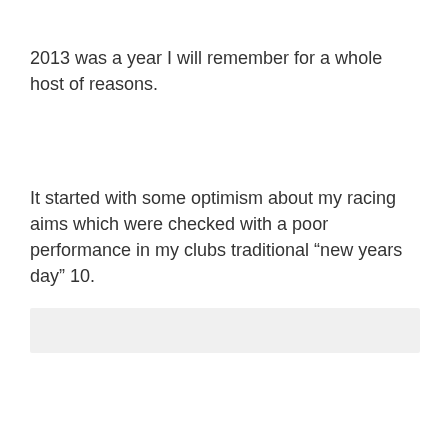2013 was a year I will remember for a whole host of reasons.
It started with some optimism about my racing aims which were checked with a poor performance in my clubs traditional “new years day” 10.